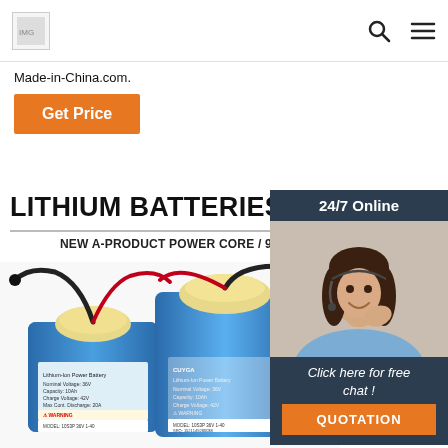Made-in-China.com
Made-in-China.com.
Get Price
[Figure (photo): Customer service agent woman with headset smiling, with '24/7 Online' banner and 'Click here for free chat!' and 'QUOTATION' button overlay]
LITHIUM BATTERIES FOR ELECTRIC
NEW A-PRODUCT POWER CORE / 99% FI
[Figure (photo): Two blue lithium battery packs with black and red wires and yellow terminals, labeled CUYGA]
HIGH-CAPACITY LITHIUM BATTERIES
MEET YOUR DAILY TRAVEL NEEDS
STABLE PERFORMANCE, SAFE AND DURABLE